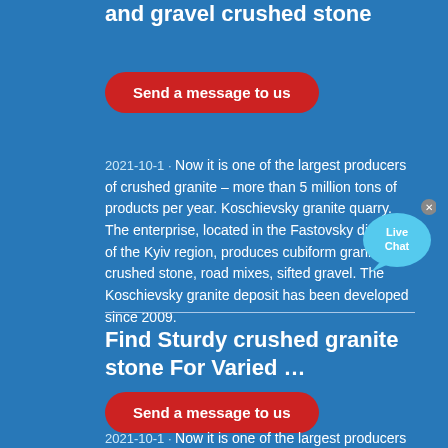and gravel crushed stone
Send a message to us
2021-10-1 · Now it is one of the largest producers of crushed granite – more than 5 million tons of products per year. Koschievsky granite quarry. The enterprise, located in the Fastovsky district of the Kyiv region, produces cubiform granite crushed stone, road mixes, sifted gravel. The Koschievsky granite deposit has been developed since 2009.
Find Sturdy crushed granite stone For Varied …
Send a message to us
2021-10-1 · Now it is one of the largest producers of crushed granite – more than 5